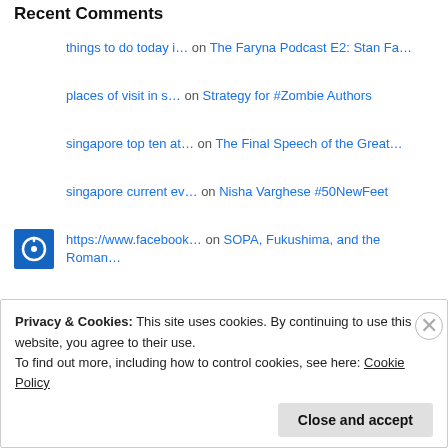Recent Comments
things to do today i… on The Faryna Podcast E2: Stan Fa…
places of visit in s… on Strategy for #Zombie Authors
singapore top ten at… on The Final Speech of the Great…
singapore current ev… on Nisha Varghese #50NewFeet
https://www.facebook… on SOPA, Fukushima, and the Roman…
Privacy & Cookies: This site uses cookies. By continuing to use this website, you agree to their use.
To find out more, including how to control cookies, see here: Cookie Policy
Close and accept